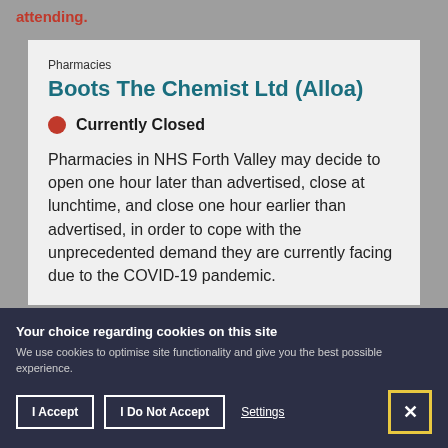attending.
Pharmacies
Boots The Chemist Ltd (Alloa)
Currently Closed
Pharmacies in NHS Forth Valley may decide to open one hour later than advertised, close at lunchtime, and close one hour earlier than advertised, in order to cope with the unprecedented demand they are currently facing due to the COVID-19 pandemic.
Your choice regarding cookies on this site
We use cookies to optimise site functionality and give you the best possible experience.
I Accept
I Do Not Accept
Settings